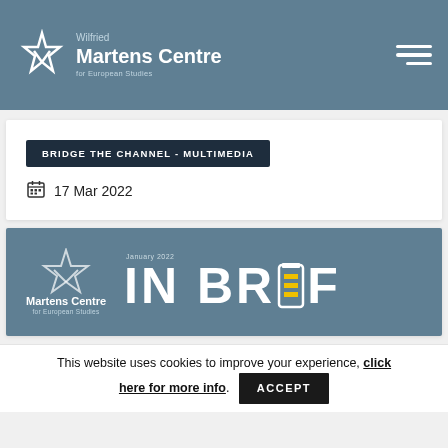Wilfried Martens Centre for European Studies
BRIDGE THE CHANNEL - MULTIMEDIA
17 Mar 2022
[Figure (logo): Wilfried Martens Centre IN BRIEF January 2022 banner]
This website uses cookies to improve your experience, click here for more info. ACCEPT